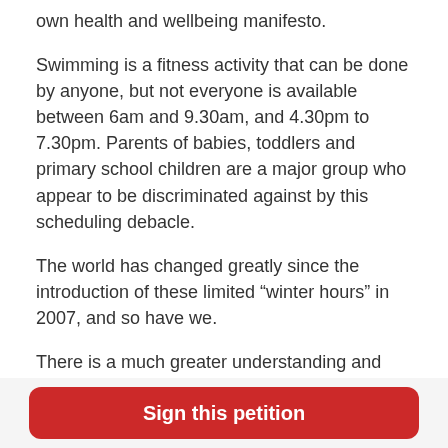own health and wellbeing manifesto.
Swimming is a fitness activity that can be done by anyone, but not everyone is available between 6am and 9.30am, and 4.30pm to 7.30pm. Parents of babies, toddlers and primary school children are a major group who appear to be discriminated against by this scheduling debacle.
The world has changed greatly since the introduction of these limited “winter hours” in 2007, and so have we.
There is a much greater understanding and acknowledgment of the psychological and physical benefits of exercise.  Swimming is the perfect low
Sign this petition